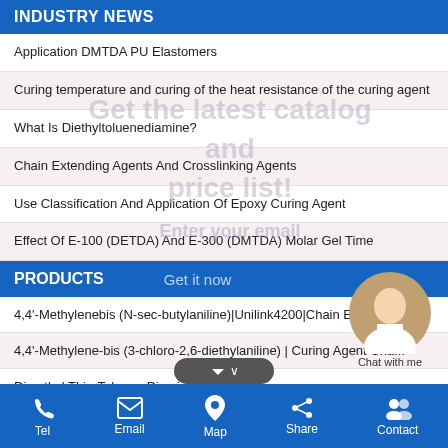INDUSTRY NEWS
Application DMTDA PU Elastomers
Curing temperature and curing of the heat resistance of the curing agent
What Is Diethyltoluenediamine?
Chain Extending Agents And Crosslinking Agents
Use Classification And Application Of Epoxy Curing Agent
Effect Of E-100 (DETDA) And E-300 (DMTDA) Molar Gel Time
PRODUCTS
4,4'-Methylenebis (N-sec-butylaniline)|Unilink4200|Chain Extendr
4,4'-Methylene-bis (3-chloro-2,6-diethylaniline) | Curing Agent Cha...
Dimethyl Thio-Toluene Diamine (DMTDA)
4,4'-Methylenebis(N-sec-butylaniline)|MDBA
Tel   Email   Map   Share   Contact